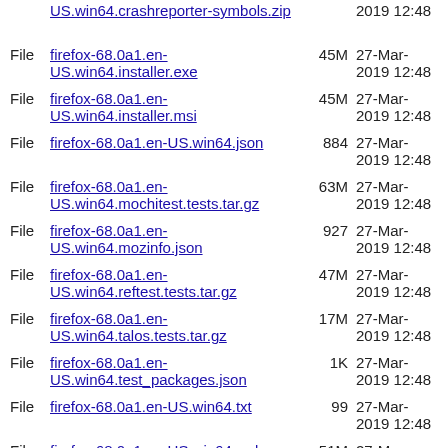File  US.win64.crashreporter-symbols.zip  2019 12:48
File  firefox-68.0a1.en-US.win64.installer.exe  45M  27-Mar-2019 12:48
File  firefox-68.0a1.en-US.win64.installer.msi  45M  27-Mar-2019 12:48
File  firefox-68.0a1.en-US.win64.json  884  27-Mar-2019 12:48
File  firefox-68.0a1.en-US.win64.mochitest.tests.tar.gz  63M  27-Mar-2019 12:48
File  firefox-68.0a1.en-US.win64.mozinfo.json  927  27-Mar-2019 12:48
File  firefox-68.0a1.en-US.win64.reftest.tests.tar.gz  47M  27-Mar-2019 12:48
File  firefox-68.0a1.en-US.win64.talos.tests.tar.gz  17M  27-Mar-2019 12:48
File  firefox-68.0a1.en-US.win64.test_packages.json  1K  27-Mar-2019 12:48
File  firefox-68.0a1.en-US.win64.txt  99  27-Mar-2019 12:48
File  firefox-68.0a1.en-US.win64.web-platform.tests.tar.gz  51M  27-Mar-2019 12:48
File  firefox-68.0a1.en-US.win64.xpcshell.tests.tar.gz  9M  27-Mar-2019 12:48